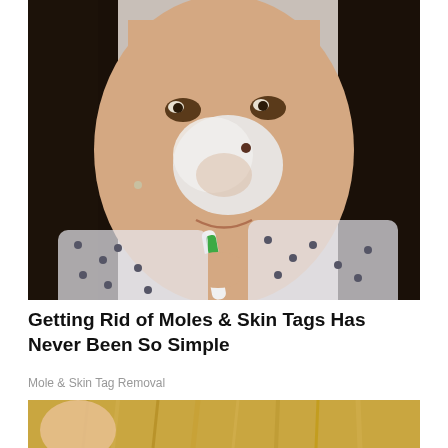[Figure (photo): A young Asian woman applying a white cream/paste to her nose using a green and white toothbrush. She is wearing a white polka-dot top and has long black hair. Her face is partially covered with white substance especially on the nose area.]
Getting Rid of Moles & Skin Tags Has Never Been So Simple
Mole & Skin Tag Removal
[Figure (photo): Partial view of a person with blonde/golden hair, showing the top of their head and shoulders. The image is cropped and only the upper portion is visible.]